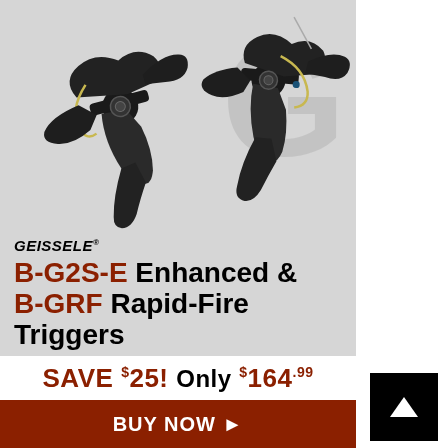[Figure (photo): Two black AR-15 trigger assemblies (Geissele B-G2S-E Enhanced and B-GRF Rapid-Fire triggers) on a gray background with a large watermark letter G]
GEISSELE® B-G2S-E Enhanced & B-GRF Rapid-Fire Triggers
Putting a refined, consistent trigger in your AR-15 doesn't have to cost a fortune!
SAVE $25! Only $164.99
BUY NOW ▶